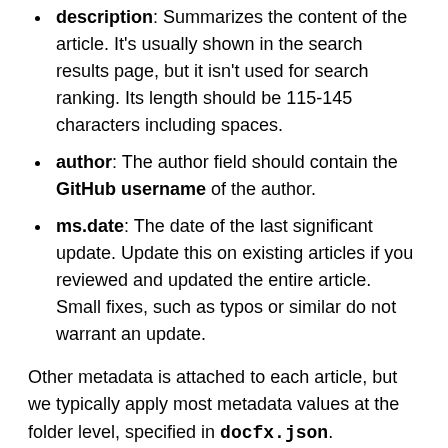description: Summarizes the content of the article. It's usually shown in the search results page, but it isn't used for search ranking. Its length should be 115-145 characters including spaces.
author: The author field should contain the GitHub username of the author.
ms.date: The date of the last significant update. Update this on existing articles if you reviewed and updated the entire article. Small fixes, such as typos or similar do not warrant an update.
Other metadata is attached to each article, but we typically apply most metadata values at the folder level, specified in docfx.json.
Basic Markdown, GFM, and special characters